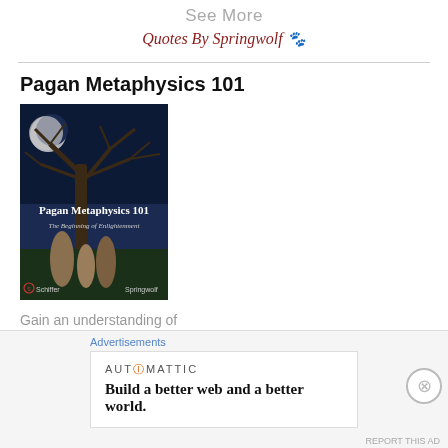See More
Quotes By Springwolf 🐾
Pagan Metaphysics 101
[Figure (photo): Book cover of 'Pagan Metaphysics 101: The Beginning of Enlightenment' by Springwolf, published by Schiffer. Cover shows a large tree with a full moon against a night sky, and standing stones in the foreground.]
Gain an understanding of
Advertisements
AUTOMATTIC
Build a better web and a better world.
REPORT THIS AD